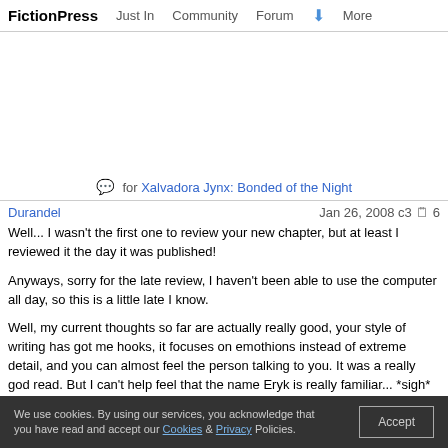FictionPress   Just In   Community   Forum   More
for Xalvadora Jynx: Bonded of the Night
Durandel   Jan 26, 2008 c3  6
Well... I wasn't the first one to review your new chapter, but at least I reviewed it the day it was published!

Anyways, sorry for the late review, I haven't been able to use the computer all day, so this is a little late I know.

Well, my current thoughts so far are actually really good, your style of writing has got me hooks, it focuses on emothions instead of extreme detail, and you can almost feel the person talking to you. It was a really god read. But I can't help feel that the name Eryk is really familiar... *sigh* well, truth is, one of my main character's name is Eryk, remeber from my very first story? Yeah, that guy, figured I'd bring him back, though with a complete overhaul.
We use cookies. By using our services, you acknowledge that you have read and accept our Cookies & Privacy Policies.  Accept